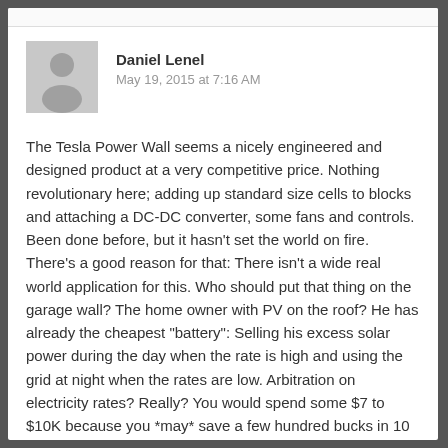[Figure (illustration): Default user avatar placeholder icon — gray square with silhouette of person]
Daniel Lenel
May 19, 2015 at 7:16 AM
The Tesla Power Wall seems a nicely engineered and designed product at a very competitive price. Nothing revolutionary here; adding up standard size cells to blocks and attaching a DC-DC converter, some fans and controls. Been done before, but it hasn't set the world on fire.
There's a good reason for that: There isn't a wide real world application for this. Who should put that thing on the garage wall? The home owner with PV on the roof? He has already the cheapest "battery": Selling his excess solar power during the day when the rate is high and using the grid at night when the rates are low. Arbitration on electricity rates? Really? You would spend some $7 to $10K because you *may* save a few hundred bucks in 10 years? You better invest that money in baseball cards or what-have-you. Or would you invest $12K (battery, island mode inverter, transfer switch) to have a stand-by generator with 2 kW capacity that you use one or